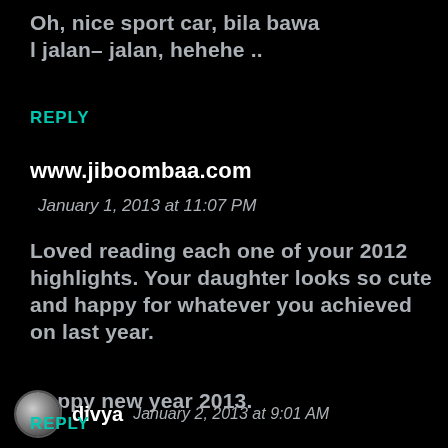Oh, nice sport car, bila bawa l jalan- jalan, hehehe ..
REPLY
www.jiboombaa.com
January 1, 2013 at 11:07 PM
Loved reading each one of your 2012 highlights. Your daughter looks so cute and happy for whatever you achieved on last year.

Happy new year 2013.
REPLY
divya  January 2, 2013 at 9:01 AM